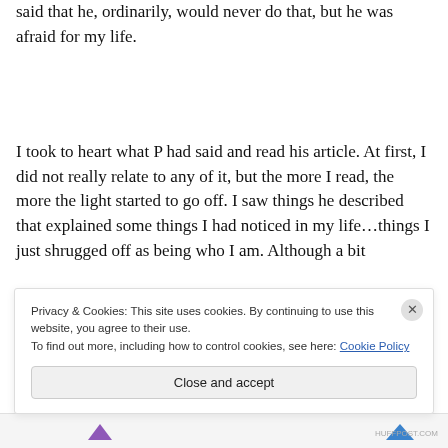said that he, ordinarily, would never do that, but he was afraid for my life.
I took to heart what P had said and read his article. At first, I did not really relate to any of it, but the more I read, the more the light started to go off. I saw things he described that explained some things I had noticed in my life…things I just shrugged off as being who I am. Although a bit
Privacy & Cookies: This site uses cookies. By continuing to use this website, you agree to their use.
To find out more, including how to control cookies, see here: Cookie Policy
Close and accept